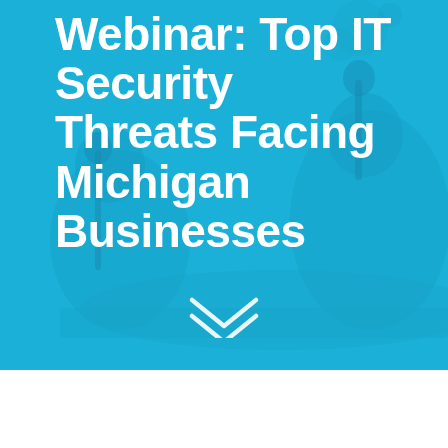[Figure (photo): Background photo of a podcast/webinar recording studio scene with people at a desk with microphones and computer equipment, overlaid with a semi-transparent blue (teal) color wash]
WorkSighted NXT Webinar: Top IT Security Threats Facing Michigan Businesses